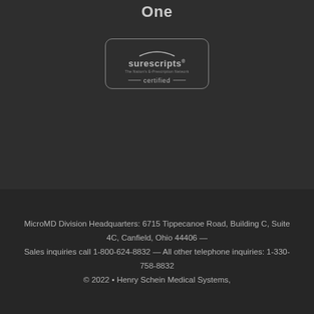One
[Figure (logo): Surescripts certified logo — rounded rectangle border with arc graphic, 'surescripts' wordmark with registered mark, tagline 'The Nation's E-Prescription Network', and 'certified' text with horizontal rule lines on either side]
MicroMD Division Headquarters: 6715 Tippecanoe Road, Building C, Suite 4C, Canfield, Ohio 44406 — Sales inquiries call 1-800-624-8832 — All other telephone inquiries: 1-330-758-8832 © 2022 • Henry Schein Medical Systems,